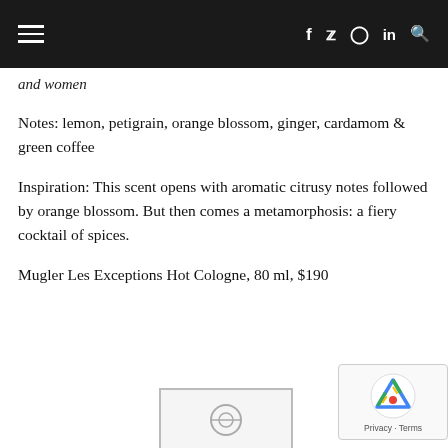≡  f  Twitter  Instagram  in  Search
and women
Notes: lemon, petigrain, orange blossom, ginger, cardamom & green coffee
Inspiration: This scent opens with aromatic citrusy notes followed by orange blossom. But then comes a metamorphosis: a fiery cocktail of spices.
Mugler Les Exceptions Hot Cologne, 80 ml, $190
[Figure (photo): Product image partially visible at bottom of page]